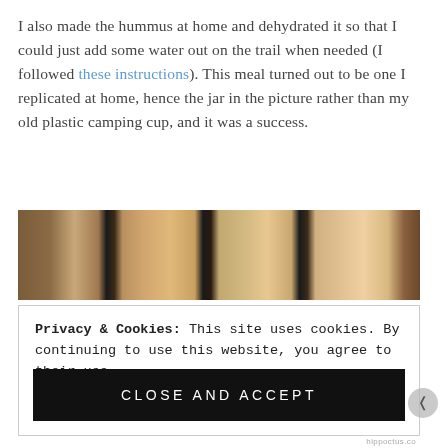I also made the hummus at home and dehydrated it so that I could just add some water out on the trail when needed (I followed these instructions). This meal turned out to be one I replicated at home, hence the jar in the picture rather than my old plastic camping cup, and it was a success.
[Figure (photo): A photo strip showing several square crackers or flatbreads arranged side by side against a dark background.]
Privacy & Cookies: This site uses cookies. By continuing to use this website, you agree to their use. To find out more, including how to control cookies, see here: Cookie Policy
CLOSE AND ACCEPT